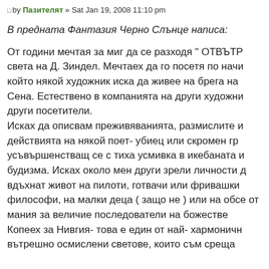□by Пазителят » Sat Jan 19, 2008 11:10 pm
В предната Фантазия Черно Слънце написа:
От години мечтая за миг да се разходя " ОТВЪТР света на Д. Зиндел. Мечтаех да го посетя по начи който някой художник иска да живее на брега на Сена. Естествено в компанията на други художни други посетители. Исках да описвам преживяванията, размислите и действията на някой поет- убиец или скромен гр усъвършенстващ се с тиха усмивка в икебаната и будизма. Исках около мен други зрели личности д вдъхнат живот на пилоти, готвачи или фривашки философи, на малки деца ( защо не ) или на обсе от мания за величие последователи на божестве Копеех за Нивгия- това е един от най- хармоничн вътрешно осмислени светове, които съм среща